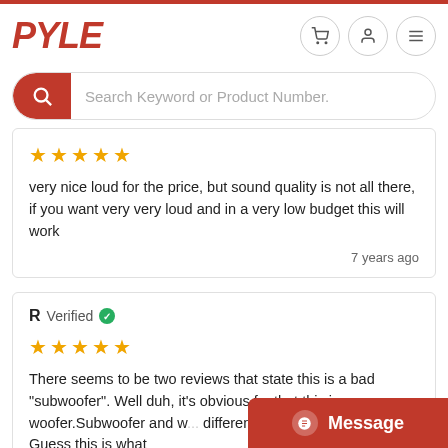PYLE
[Figure (screenshot): Search bar with red magnifying glass icon and placeholder text 'Search Keyword or Product Number.']
very nice loud for the price, but sound quality is not all there, if you want very very loud and in a very low budget this will work
7 years ago
R Verified
There seems to be two reviews that state this is a bad "subwoofer". Well duh, it's obvious f... that this is a woofer.Subwoofer and w... different types of loudspeakers. Guess this is what
[Figure (screenshot): Red Message button with chat icon in bottom right corner]